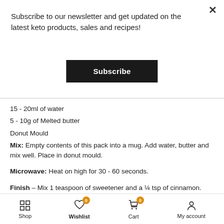Subscribe to our newsletter and get updated on the latest keto products, sales and recipes!
Subscribe
15 - 20ml of water
5 - 10g of Melted butter
Donut Mould
Mix:  Empty contents of this pack into a mug. Add water, butter and mix well.  Place in donut mould.
Microwave: Heat on high for 30 - 60 seconds.
Finish – Mix 1 teaspoon of sweetener and a ¼ tsp of cinnamon. Lightly sprinkle your donut on both sides
£6.95
Shop | Wishlist 0 | Cart 0 | My account